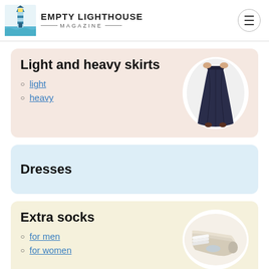EMPTY LIGHTHOUSE MAGAZINE
Light and heavy skirts
light
heavy
[Figure (photo): A dark navy long skirt held up by hands, shown in an oval cutout]
Dresses
Extra socks
for men
for women
[Figure (photo): A bundle of white ankle socks shown in an oval cutout]